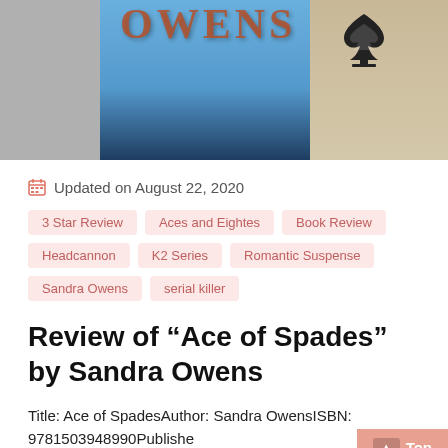[Figure (photo): Top portion of a book cover for 'Ace of Spades' by Sandra Owens, showing a person in a blue shirt and a spade/ace of spades logo icon on the right side]
Updated on August 22, 2020
3 Star Review
Aces and Eightes
Book Review
Headcannon
K2 Series
Romantic Suspense
Sandra Owens
serial killer
Review of “Ace of Spades” by Sandra Owens
Title: Ace of SpadesAuthor: Sandra OwensISBN: 9781503948990Publishe